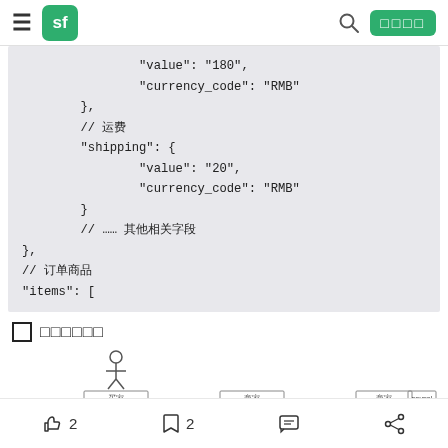sf [navigation bar with search and button]
"value": "180",
"currency_code": "RMB"
},
// 运费
"shipping": {
    "value": "20",
    "currency_code": "RMB"
}
// …… 其他相关字段
},
// 订单商品
"items": [
□ 订单商品列表
[Figure (other): Diagram strip showing UML actor icon connected to boxes labeled: 买家, 商家, 商家, paypal]
👍 2   🔖 2   💬   🔗